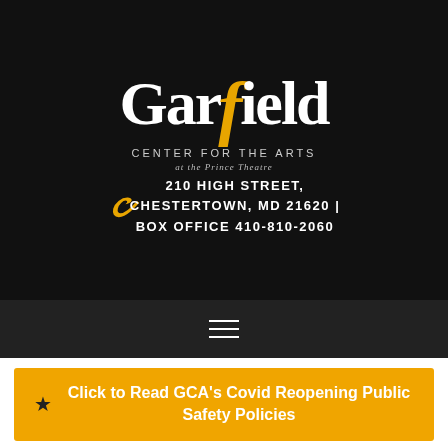[Figure (logo): Garfield Center for the Arts at the Prince Theatre logo with address: 210 High Street, Chestertown, MD 21620 | Box Office 410-810-2060]
Click to Read GCA's Covid Reopening Public Safety Policies
« All Events
This event has passed.